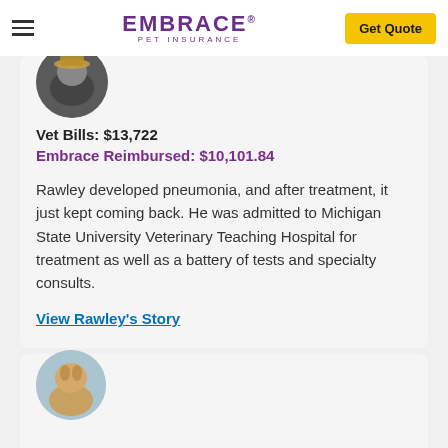EMBRACE PET INSURANCE | Get Quote
[Figure (photo): Circular photo of a dark-colored pet (dog or cat) with a hat or dark background]
Vet Bills: $13,722
Embrace Reimbursed: $10,101.84
Rawley developed pneumonia, and after treatment, it just kept coming back. He was admitted to Michigan State University Veterinary Teaching Hospital for treatment as well as a battery of tests and specialty consults.
View Rawley's Story
[Figure (photo): Circular photo of a light-brown dog outdoors with a blue sky background, partially visible]